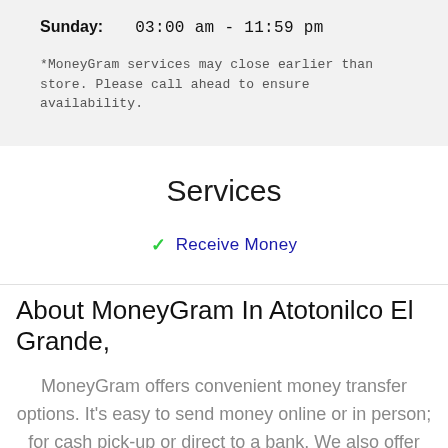Sunday:   03:00 am - 11:59 pm
*MoneyGram services may close earlier than store. Please call ahead to ensure availability.
Services
✓ Receive Money
About MoneyGram In Atotonilco El Grande,
MoneyGram offers convenient money transfer options. It's easy to send money online or in person; for cash pick-up or direct to a bank. We also offer inmate services & transfers to mobile